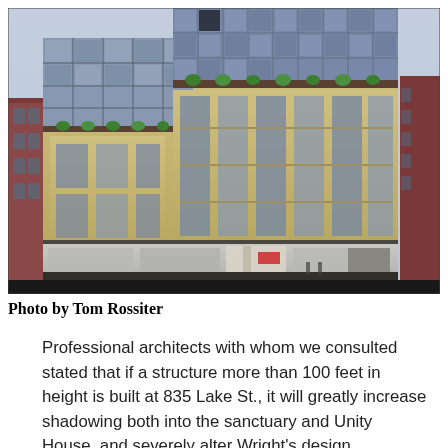[Figure (photo): Architectural rendering of a modern multi-story building at 835 Lake St., showing a glass tower top, tan/yellow brick mid-section with large windows, and retail ground floor storefronts. Adjacent older brick buildings visible on sides.]
Photo by Tom Rossiter
Professional architects with whom we consulted stated that if a structure more than 100 feet in height is built at 835 Lake St., it will greatly increase shadowing both into the sanctuary and Unity House, and severely alter Wright's design